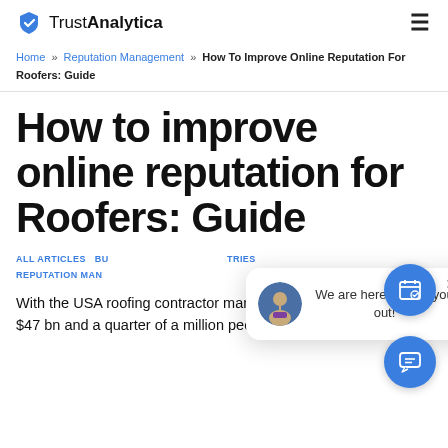TrustAnalytica
Home » Reputation Management » How To Improve Online Reputation For Roofers: Guide
How to improve online reputation for Roofers: Guide
ALL ARTICLES  BUSINESS INDUSTRIES  REPUTATION MANAGEMENT
[Figure (illustration): Chat popup widget with avatar and text 'We are here to help you out!']
With the USA roofing contractor market sitting at $47 bn and a quarter of a million people employed,